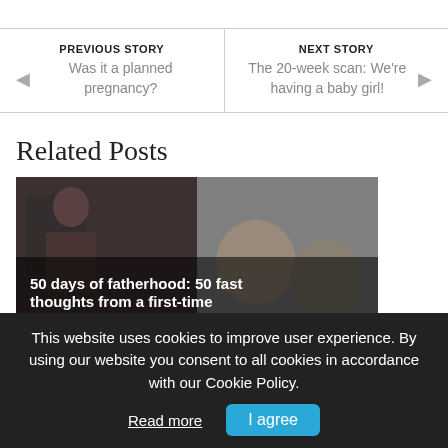PREVIOUS STORY
Was it a planned pregnancy?
NEXT STORY
The 20-week scan: We're having a baby girl!
Related Posts
[Figure (photo): Photo montage showing a man on the left side and a family selfie on the right side, used as background for a blog post card titled '50 days of fatherhood: 50 fast thoughts from a first-time father...' dated July 22, 2017 | DadultLife]
This website uses cookies to improve user experience. By using our website you consent to all cookies in accordance with our Cookie Policy.
Read more
I agree